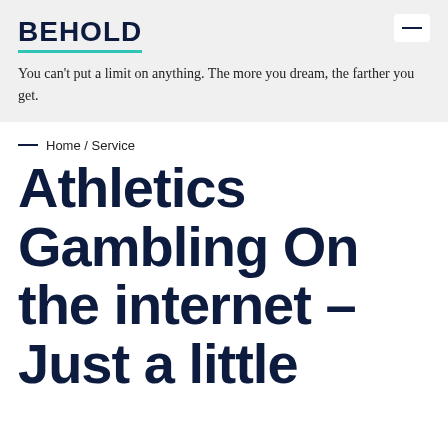BEHOLD
You can't put a limit on anything. The more you dream, the farther you get.
Home / Service
Athletics Gambling On the internet – Just a little